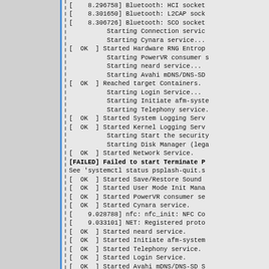[Figure (screenshot): System boot log terminal output showing kernel and systemd service startup messages, including Bluetooth, NFC, network, and other services. Some lines show OK status, one FAILED status for psplash-quit service.]